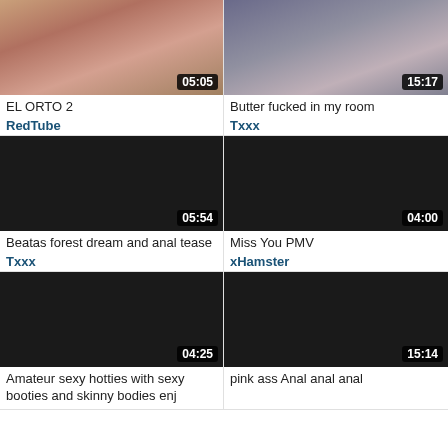[Figure (screenshot): Video thumbnail row 1 left - colorful blurry image with duration 05:05]
EL ORTO 2
RedTube
[Figure (screenshot): Video thumbnail row 1 right - person image with duration 15:17]
Butter fucked in my room
Txxx
[Figure (screenshot): Video thumbnail row 2 left - dark/black image with duration 05:54]
Beatas forest dream and anal tease
Txxx
[Figure (screenshot): Video thumbnail row 2 right - dark/black image with duration 04:00]
Miss You PMV
xHamster
[Figure (screenshot): Video thumbnail row 3 left - dark/black image with duration 04:25]
Amateur sexy hotties with sexy booties and skinny bodies enj
[Figure (screenshot): Video thumbnail row 3 right - dark/black image with duration 15:14]
pink ass Anal anal anal